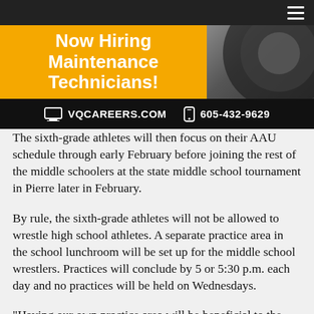[Figure (infographic): Advertisement banner: Now Hiring Maintenance Technicians! VQCAREERS.COM 605-432-9629, yellow and black with tire photo]
The sixth-grade athletes will then focus on their AAU schedule through early February before joining the rest of the middle schoolers at the state middle school tournament in Pierre later in February.
By rule, the sixth-grade athletes will not be allowed to wrestle high school athletes. A separate practice area in the school lunchroom will be set up for the middle school wrestlers. Practices will conclude by 5 or 5:30 p.m. each day and no practices will be held on Wednesdays.
“Having our own practice area will be beneficial to the middle school wrestlers,” says middle school coach Josh Schmeichel. “It will also be great to have extra wrestlers in practice. This will give us a huge advantage in pairing up wrestlers during practice. By